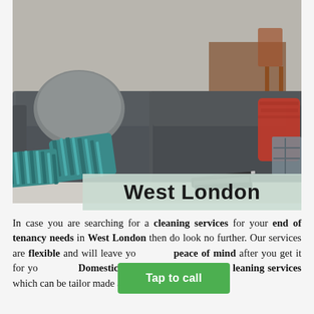[Figure (photo): A modern living room with a large grey sectional sofa with teal and grey striped cushions, a red throw blanket on the armrest, a wooden dining table visible in the background, and some magazines/books on the floor. The room has a light grey concrete floor.]
West London
In case you are searching for a cleaning services for your end of tenancy needs in West London then do look no further. Our services are flexible and will leave you with a peace of mind after you get it for yo... Domestic Clean London we offer ... leaning services which can be tailor made as per your needs and